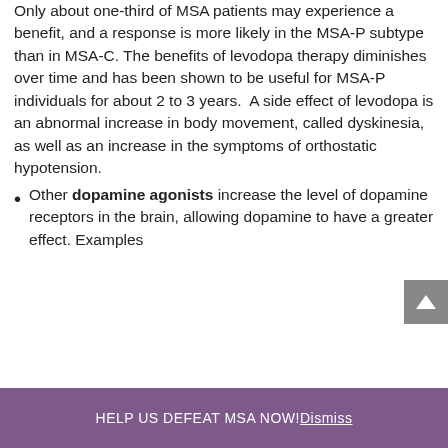Only about one-third of MSA patients may experience a benefit, and a response is more likely in the MSA-P subtype than in MSA-C. The benefits of levodopa therapy diminishes over time and has been shown to be useful for MSA-P individuals for about 2 to 3 years.  A side effect of levodopa is an abnormal increase in body movement, called dyskinesia, as well as an increase in the symptoms of orthostatic hypotension.
Other dopamine agonists increase the level of dopamine receptors in the brain, allowing dopamine to have a greater effect. Examples
HELP US DEFEAT MSA NOW! Dismiss